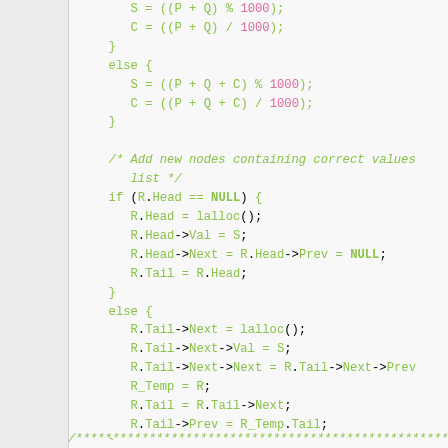[Figure (screenshot): Source code snippet in C-like language showing arithmetic operations on linked list nodes. Green syntax highlighting for keywords and identifiers, pink for numeric literals. Code includes else blocks, if/else branches for R.Head == NULL check, lalloc() calls, and pointer operations on linked list nodes.]